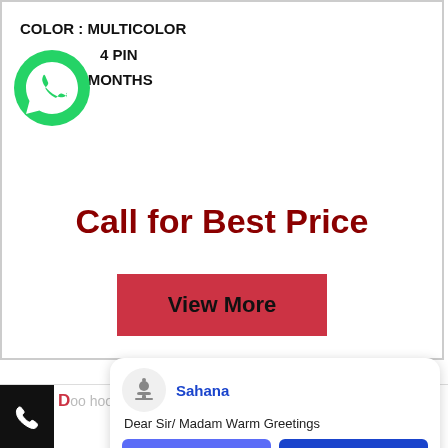COLOR : MULTICOLOR
4 PIN
: 3 MONTHS
[Figure (logo): WhatsApp logo - green speech bubble with phone icon]
Call for Best Price
View More
[Figure (screenshot): Notification popup from Sahana: Dear Sir/ Madam Warm Greetings, with Dismiss and Reply buttons]
Dear Sir/ Madam Warm Greetings
op Cooling Fan